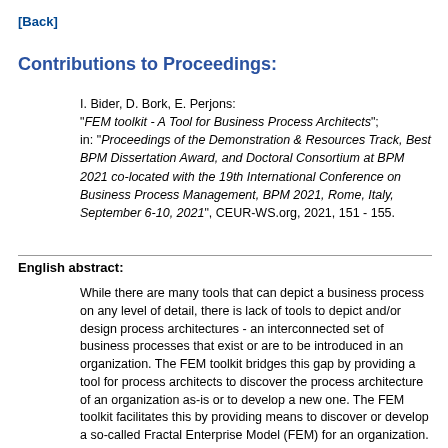[Back]
Contributions to Proceedings:
I. Bider, D. Bork, E. Perjons:
"FEM toolkit - A Tool for Business Process Architects";
in: "Proceedings of the Demonstration & Resources Track, Best BPM Dissertation Award, and Doctoral Consortium at BPM 2021 co-located with the 19th International Conference on Business Process Management, BPM 2021, Rome, Italy, September 6-10, 2021", CEUR-WS.org, 2021, 151 - 155.
English abstract:
While there are many tools that can depict a business process on any level of detail, there is lack of tools to depict and/or design process architectures - an interconnected set of business processes that exist or are to be introduced in an organization. The FEM toolkit bridges this gap by providing a tool for process architects to discover the process architecture of an organization as-is or to develop a new one. The FEM toolkit facilitates this by providing means to discover or develop a so-called Fractal Enterprise Model (FEM) for an organization. FEM depicts interconnections between the business processes in an enterprise by connecting them to the assets they use and manage. Assets considered in the model could be tangible (buildings, heavy machinery, etc.) and intangible (reputation, business process definitions, etc.). The FEM toolkit has been